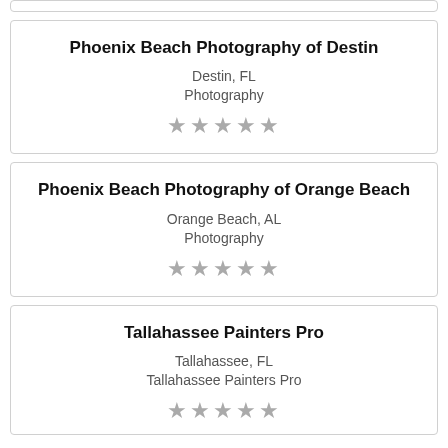[partial card top]
Phoenix Beach Photography of Destin
Destin, FL
Photography
★★★★★
Phoenix Beach Photography of Orange Beach
Orange Beach, AL
Photography
★★★★★
Tallahassee Painters Pro
Tallahassee, FL
Tallahassee Painters Pro
★★★★★